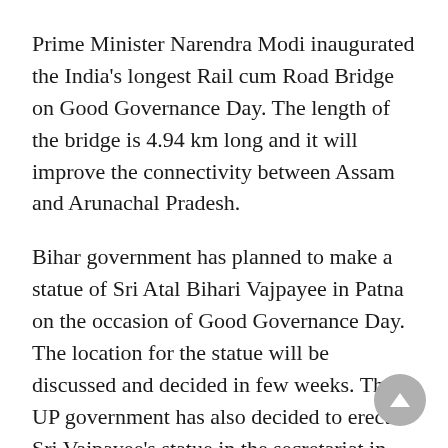Prime Minister Narendra Modi inaugurated the India's longest Rail cum Road Bridge on Good Governance Day. The length of the bridge is 4.94 km long and it will improve the connectivity between Assam and Arunachal Pradesh.
Bihar government has planned to make a statue of Sri Atal Bihari Vajpayee in Patna on the occasion of Good Governance Day. The location for the statue will be discussed and decided in few weeks. The UP government has also decided to erect Sri Vajpayee's statue in the secretariat in Lucknow.